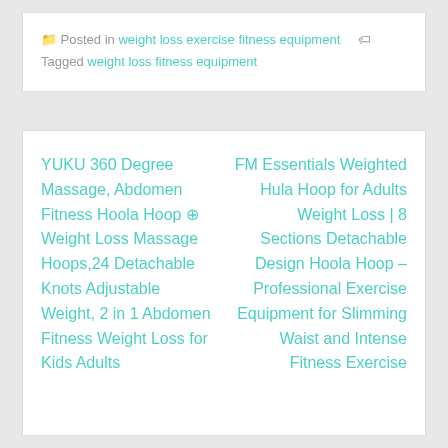Posted in weight loss exercise fitness equipment   Tagged weight loss fitness equipment
YUKU 360 Degree Massage, Abdomen Fitness Hoola Hoop ⊕ Weight Loss Massage Hoops,24 Detachable Knots Adjustable Weight, 2 in 1 Abdomen Fitness Weight Loss for Kids Adults
FM Essentials Weighted Hula Hoop for Adults Weight Loss | 8 Sections Detachable Design Hoola Hoop – Professional Exercise Equipment for Slimming Waist and Intense Fitness Exercise